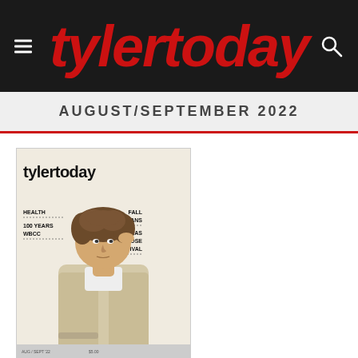tylertoday
AUGUST/SEPTEMBER 2022
[Figure (photo): Magazine cover of tylertoday August/September 2022 issue featuring a young man with curly hair wearing a light-colored jacket. Cover text includes: HEALTH, 100 YEARS WBCC, FALL PLANS, TEXAS ROSE FESTIVAL. Bottom bar shows AUG/SEPT '22 and price.]